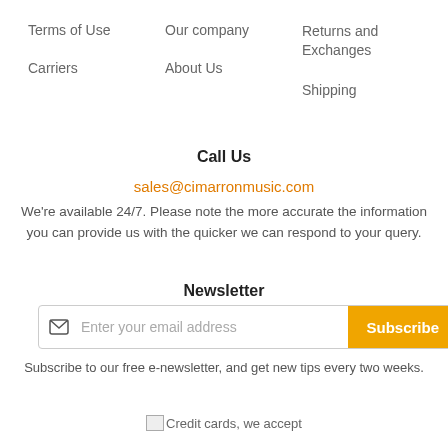Terms of Use
Carriers
Our company
About Us
Returns and Exchanges
Shipping
Call Us
sales@cimarronmusic.com
We're available 24/7. Please note the more accurate the information you can provide us with the quicker we can respond to your query.
Newsletter
Enter your email address
Subscribe to our free e-newsletter, and get new tips every two weeks.
Credit cards, we accept